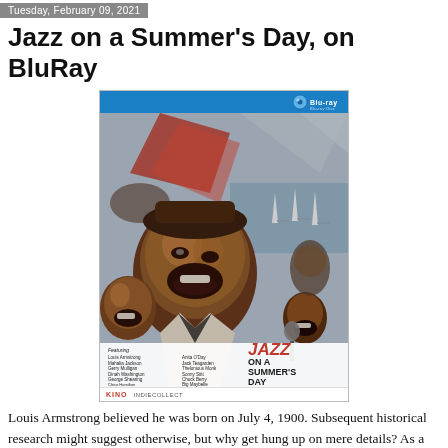Tuesday, February 09, 2021
Jazz on a Summer's Day, on BluRay
[Figure (photo): BluRay disc cover art for 'Jazz on a Summer's Day' featuring colorful painted artwork of jazz musicians including Louis Armstrong, sailboats in background, with a list of featured performers and distributor logos (Kino Lorber / IndieCollect) at the bottom.]
Louis Armstrong believed he was born on July 4, 1900. Subsequent historical research might suggest otherwise, but why get hung up on mere details? As a true Horatio Alger figure, who